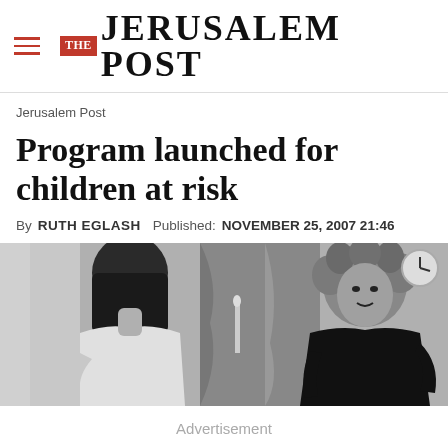THE JERUSALEM POST
Jerusalem Post
Program launched for children at risk
By RUTH EGLASH   Published: NOVEMBER 25, 2007 21:46
[Figure (photo): Black and white photo of two women, one with her back turned wearing a white top and one facing the camera with curly hair wearing a black top]
Advertisement